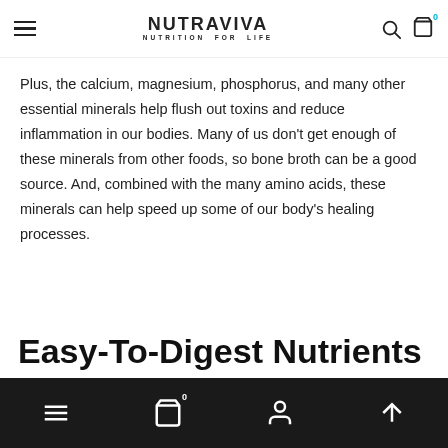NUTRAVIVA NUTRITION FOR LIFE
Plus, the calcium, magnesium, phosphorus, and many other essential minerals help flush out toxins and reduce inflammation in our bodies. Many of us don’t get enough of these minerals from other foods, so bone broth can be a good source. And, combined with the many amino acids, these minerals can help speed up some of our body’s healing processes.
Easy-To-Digest Nutrients